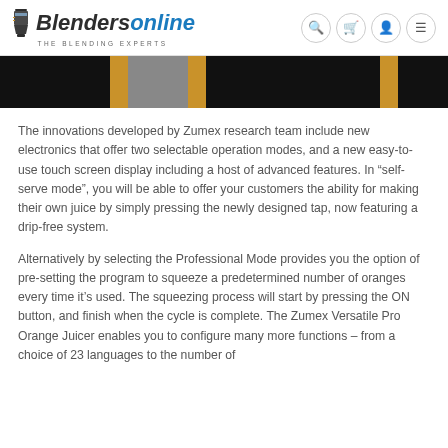Blendersonline THE BLENDING EXPERTS
[Figure (photo): Partial hero image showing a dark background with gold/amber accents, appears to be a product banner image cropped at top]
The innovations developed by Zumex research team include new electronics that offer two selectable operation modes, and a new easy-to-use touch screen display including a host of advanced features. In “self-serve mode”, you will be able to offer your customers the ability for making their own juice by simply pressing the newly designed tap, now featuring a drip-free system.
Alternatively by selecting the Professional Mode provides you the option of pre-setting the program to squeeze a predetermined number of oranges every time it’s used. The squeezing process will start by pressing the ON button, and finish when the cycle is complete. The Zumex Versatile Pro Orange Juicer enables you to configure many more functions – from a choice of 23 languages to the number of